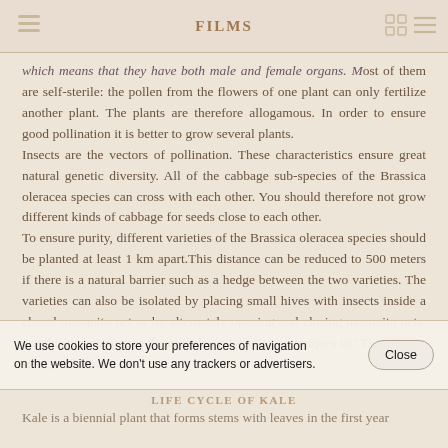FILMS
which means that they have both male and female organs. Most of them are self-sterile: the pollen from the flowers of one plant can only fertilize another plant. The plants are therefore allogamous. In order to ensure good pollination it is better to grow several plants.
Insects are the vectors of pollination. These characteristics ensure great natural genetic diversity. All of the cabbage sub-species of the Brassica oleracea species can cross with each other. You should therefore not grow different kinds of cabbage for seeds close to each other.
To ensure purity, different varieties of the Brassica oleracea species should be planted at least 1 km apart.This distance can be reduced to 500 meters if there is a natural barrier such as a hedge between the two varieties. The varieties can also be isolated by placing small hives with insects inside a closed mosquito net or by alternately opening and closing mosquito nets. For this technique, see the module on isolation techniques in "The ABC of seed production".
We use cookies to store your preferences of navigation on the website. We don't use any trackers or advertisers.
LIFE CYCLE OF KALE
Kale is a biennial plant that forms stems with leaves in the first year